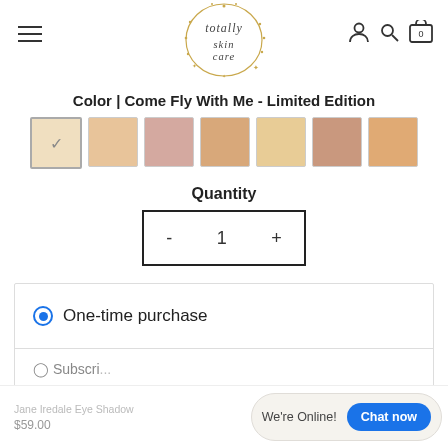[Figure (logo): Totally Skincare circular logo with golden star decorations and thin circle border]
Color | Come Fly With Me - Limited Edition
[Figure (other): Seven color swatches ranging from light beige to medium rose/tan tones; first swatch is selected with a checkmark]
Quantity
- 1 +
One-time purchase
Jane Iredale Eye Shadow $59.00
We're Online!
Chat now